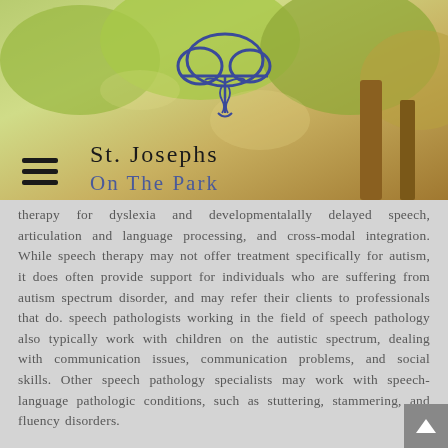[Figure (photo): Green park/tree canopy background photo with St. Josephs On The Park branding logo (cloud with caduceus symbol) and navigation hamburger menu]
therapy for dyslexia and developmentalally delayed speech, articulation and language processing, and cross-modal integration. While speech therapy may not offer treatment specifically for autism, it does often provide support for individuals who are suffering from autism spectrum disorder, and may refer their clients to professionals that do. speech pathologists working in the field of speech pathology also typically work with children on the autistic spectrum, dealing with communication issues, communication problems, and social skills. Other speech pathology specialists may work with speech-language pathologic conditions, such as stuttering, stammering, and fluency disorders.